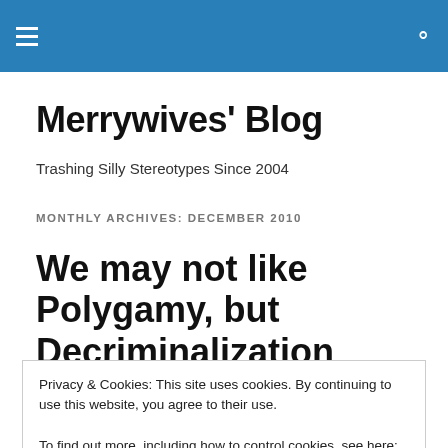Merrywives' Blog — navigation header bar
Merrywives' Blog
Trashing Silly Stereotypes Since 2004
MONTHLY ARCHIVES: DECEMBER 2010
We may not like Polygamy, but Decriminalization makes sense
Privacy & Cookies: This site uses cookies. By continuing to use this website, you agree to their use.
To find out more, including how to control cookies, see here: Cookie Policy
The overwhelming majority of Canadians do not want to